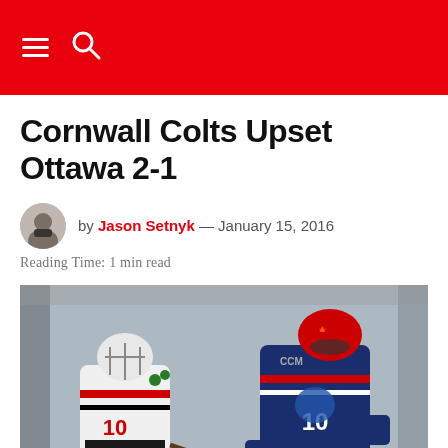Navigation header bar with menu and search icons
Cornwall Colts Upset Ottawa 2-1
by Jason Setnyk — January 15, 2016
Reading Time: 1 min read
[Figure (photo): Two hockey players in a face-off: one in white Cornwall Colts jersey (#10) and one in blue Ottawa jersey (#10) leaning into each other on the ice.]